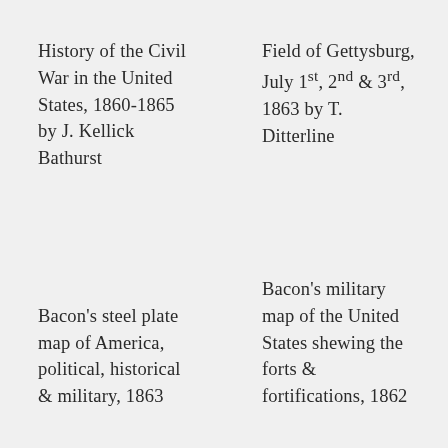History of the Civil War in the United States, 1860-1865 by J. Kellick Bathurst
Field of Gettysburg, July 1st, 2nd & 3rd, 1863 by T. Ditterline
Bacon's steel plate map of America, political, historical & military, 1863
Bacon's military map of the United States shewing the forts & fortifications, 1862